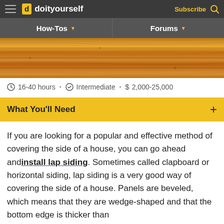doityourself — Subscribe
How-Tos | Forums
[Figure (photo): Close-up of horizontal wooden lap siding boards showing wood grain texture in warm brown/amber tones]
16-40 hours · Intermediate · $ 2,000-25,000
What You'll Need +
If you are looking for a popular and effective method of covering the side of a house, you can go ahead and install lap siding. Sometimes called clapboard or horizontal siding, lap siding is a very good way of covering the side of a house. Panels are beveled, which means that they are wedge-shaped and that the bottom edge is thicker than